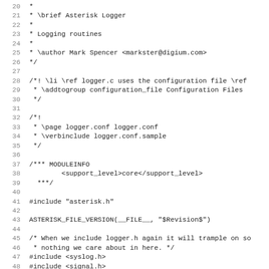Source code listing, lines 20-51, showing C source file comments and includes for Asterisk Logger (logger.c). Includes Doxygen comments, MODULEINFO block, includes for asterisk.h, syslog.h, signal.h, time.h, sys/stat.h, fcntl.h.